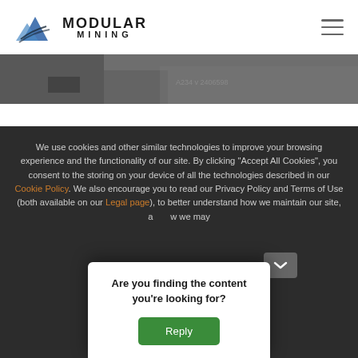[Figure (logo): Modular Mining logo with mountain icon and text MODULAR MINING]
[Figure (photo): Dark grayscale hero image strip showing mining equipment]
We use cookies and other similar technologies to improve your browsing experience and the functionality of our site. By clicking "Accept All Cookies", you consent to the storing on your device of all the technologies described in our Cookie Policy. We also encourage you to read our Privacy Policy and Terms of Use (both available on our Legal page), to better understand how we maintain our site, and how we may
Are you finding the content you're looking for?
Reply